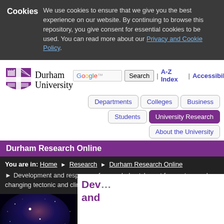Cookies  We use cookies to ensure that we give you the best experience on our website. By continuing to browse this repository, you give consent for essential cookies to be used. You can read more about our Privacy and Cookie Policy.
[Figure (logo): Durham University crest/shield logo with purple and white quadrants]
Durham University
Google [search box] Search | A-Z Index | Accessibility
Departments | Colleges | Business | Students | University Research | About the University
Durham Research Online
You are in: Home ▶ Research ▶ Durham Research Online ▶ Development and response of a coupled catchment fan system under changing tectonic and climatic forcing.
[Figure (photo): Nebula/starfield photo — deep space image with purple and blue tones and bright stars]
Quick links
Search
Author/Department search
Dev... and...